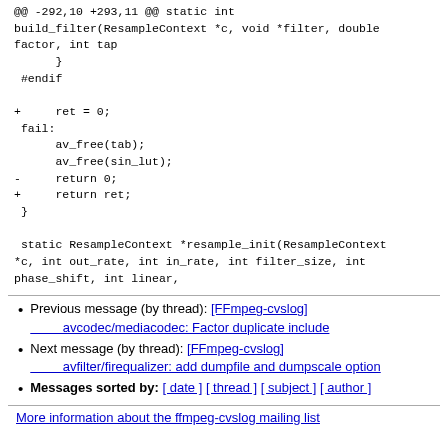@@ -292,10 +293,11 @@ static int build_filter(ResampleContext *c, void *filter, double factor, int tap
      }
 #endif

+     ret = 0;
 fail:
      av_free(tab);
      av_free(sin_lut);
-     return 0;
+     return ret;
 }

 static ResampleContext *resample_init(ResampleContext *c, int out_rate, int in_rate, int filter_size, int phase_shift, int linear,
Previous message (by thread): [FFmpeg-cvslog] avcodec/mediacodec: Factor duplicate include
Next message (by thread): [FFmpeg-cvslog] avfilter/firequalizer: add dumpfile and dumpscale option
Messages sorted by: [ date ] [ thread ] [ subject ] [ author ]
More information about the ffmpeg-cvslog mailing list